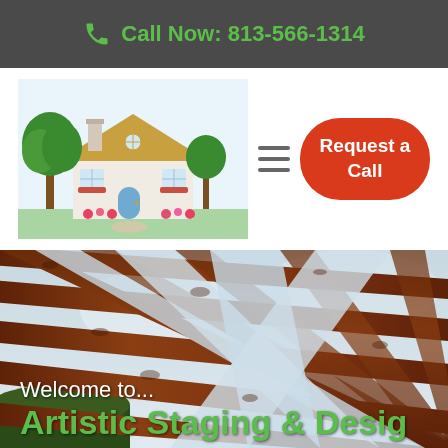Call Now: 813-566-1314
[Figure (logo): Illustrated cottage house logo with green trees and colorful flowers]
[Figure (other): Hamburger menu icon (three horizontal lines)]
Request a Call
[Figure (photo): Close-up photo of dark wooden pergola beams against a light sky background]
Welcome to...
Artistic Staging & Design